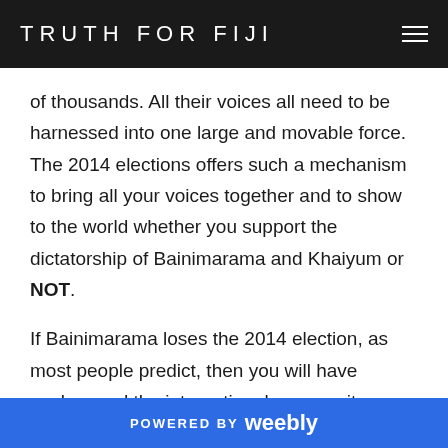TRUTH FOR FIJI
of thousands. All their voices all need to be harnessed into one large and movable force.  The 2014 elections offers such a mechanism to bring all your voices together and to show to the world whether you support the dictatorship of Bainimarama and Khaiyum or NOT.
If Bainimarama loses the 2014 election, as most people predict, then you will have spoken and the international community can no-longer continue to stand aside and do nothing. Instead, they would be morally obligated to assist the people of Fiji with removing the cancerous dictatorship and oppression from our souls.
POWERED BY weebly